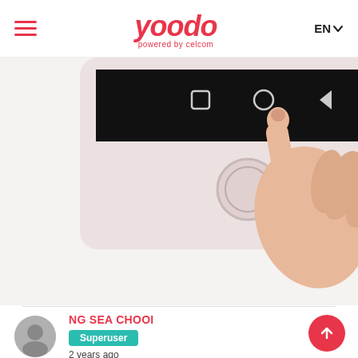Yoodo — powered by celcom | EN
[Figure (photo): A hand with index finger pointing/tapping on the bottom portion of a smartphone (iPhone-style device with home button and Android navigation bar visible), shown on white background.]
NG SEA CHOOI
Superuser
2 years ago